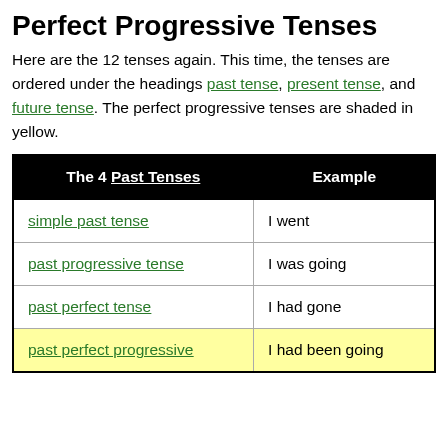Perfect Progressive Tenses
Here are the 12 tenses again. This time, the tenses are ordered under the headings past tense, present tense, and future tense. The perfect progressive tenses are shaded in yellow.
| The 4 Past Tenses | Example |
| --- | --- |
| simple past tense | I went |
| past progressive tense | I was going |
| past perfect tense | I had gone |
| past perfect progressive | I had been going |